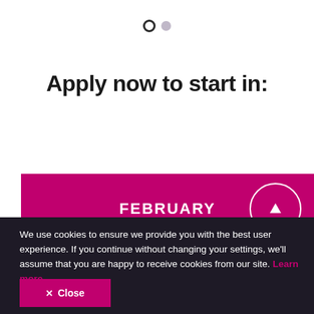[Figure (other): Pagination indicator: two dots, first is an open circle (active), second is a filled grey smaller circle]
Apply now to start in:
[Figure (infographic): Magenta/pink banner with the text FEBRUARY in bold white uppercase and an arrow circle button on the right]
We use cookies to ensure we provide you with the best user experience. If you continue without changing your settings, we'll assume that you are happy to receive cookies from our site. Learn more.
✕ Close